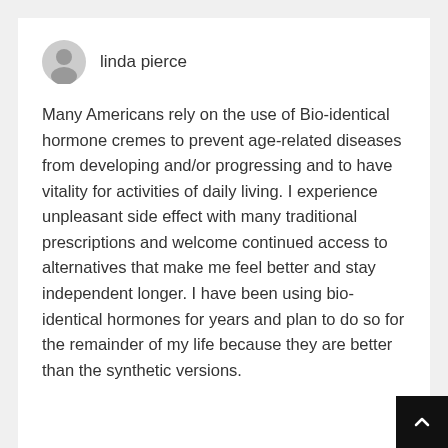linda pierce
Many Americans rely on the use of Bio-identical hormone cremes to prevent age-related diseases from developing and/or progressing and to have vitality for activities of daily living. I experience unpleasant side effect with many traditional prescriptions and welcome continued access to alternatives that make me feel better and stay independent longer. I have been using bio-identical hormones for years and plan to do so for the remainder of my life because they are better than the synthetic versions.